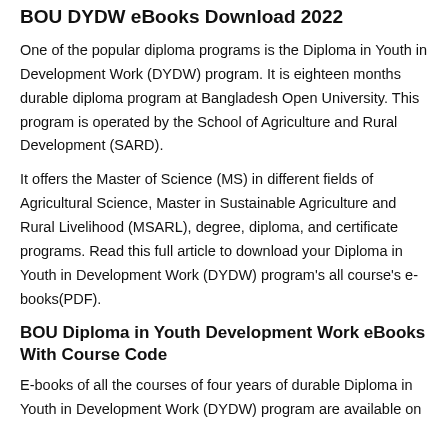BOU DYDW eBooks Download 2022
One of the popular diploma programs is the Diploma in Youth in Development Work (DYDW) program. It is eighteen months durable diploma program at Bangladesh Open University. This program is operated by the School of Agriculture and Rural Development (SARD).
It offers the Master of Science (MS) in different fields of Agricultural Science, Master in Sustainable Agriculture and Rural Livelihood (MSARL), degree, diploma, and certificate programs. Read this full article to download your Diploma in Youth in Development Work (DYDW) program's all course's e-books(PDF).
BOU Diploma in Youth Development Work eBooks With Course Code
E-books of all the courses of four years of durable Diploma in Youth in Development Work (DYDW) program are available on